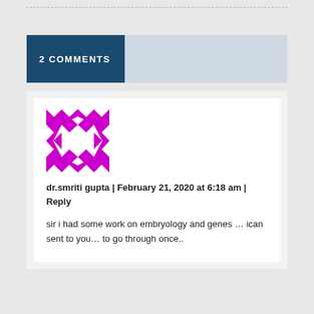2 COMMENTS
[Figure (illustration): Purple and white geometric pattern avatar/icon — a square tile with triangular shapes forming a border pattern]
dr.smriti gupta | February 21, 2020 at 6:18 am | Reply
sir i had some work on embryology and genes … ican sent to you… to go through once..